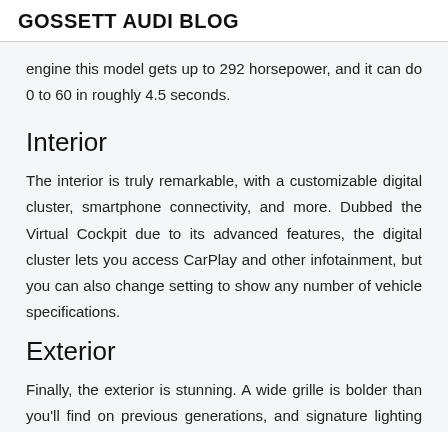GOSSETT AUDI BLOG
engine this model gets up to 292 horsepower, and it can do 0 to 60 in roughly 4.5 seconds.
Interior
The interior is truly remarkable, with a customizable digital cluster, smartphone connectivity, and more. Dubbed the Virtual Cockpit due to its advanced features, the digital cluster lets you access CarPlay and other infotainment, but you can also change setting to show any number of vehicle specifications.
Exterior
Finally, the exterior is stunning. A wide grille is bolder than you'll find on previous generations, and signature lighting lets people know you're behind the